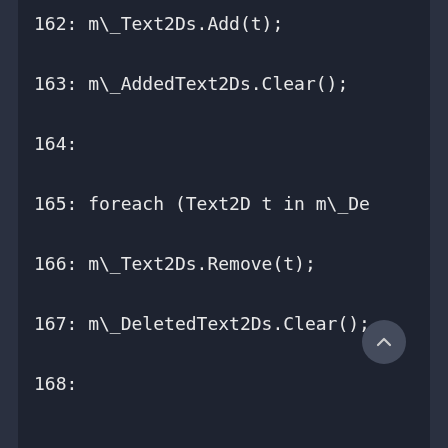162: m\_Text2Ds.Add(t);
163: m\_AddedText2Ds.Clear();
164:
165: foreach (Text2D t in m\_De
166: m\_Text2Ds.Remove(t);
167: m\_DeletedText2Ds.Clear();
168: